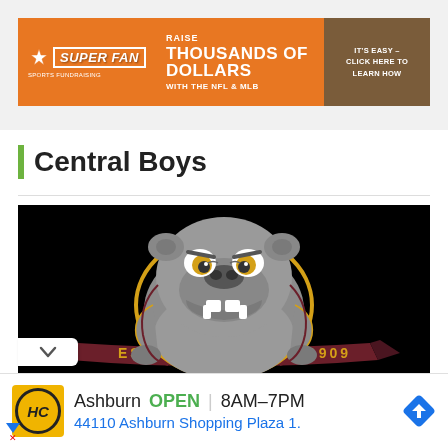[Figure (infographic): Super Fan Sports Fundraising ad banner. Orange background with logo on left, text 'RAISE THOUSANDS OF DOLLARS WITH THE NFL & MLB' in center, brown right panel with 'IT'S EASY – CLICK HERE TO LEARN HOW']
Central Boys
[Figure (illustration): Central Boys bulldog mascot logo on black background. Gray bulldog with gold and maroon accents, ribbon banner reading 'EST. 1909']
[Figure (infographic): Haverty's Furniture local ad. Yellow HC logo, text: Ashburn OPEN 8AM-7PM, 44110 Ashburn Shopping Plaza 1., with blue navigation arrow icon]